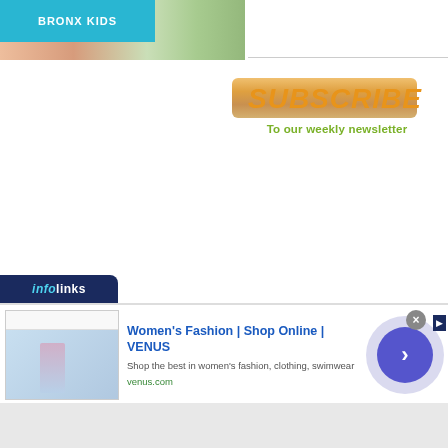[Figure (screenshot): Bronx Kids website header with cyan banner reading BRONX KIDS and a decorative background image]
[Figure (infographic): Subscribe banner with orange SUBSCRIBE text and green subtitle 'To our weekly newsletter']
[Figure (screenshot): Infolinks advertisement bar for Women's Fashion Shop Online VENUS with ad thumbnail, title, description, and navigation button]